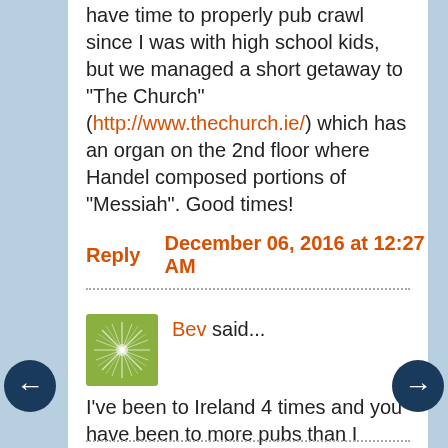have time to properly pub crawl since I was with high school kids, but we managed a short getaway to "The Church" (http://www.thechurch.ie/) which has an organ on the 2nd floor where Handel composed portions of "Messiah". Good times!
Reply     December 06, 2016 at 12:27 AM
Bev said...
[Figure (illustration): Green square avatar with a starburst/mandala pattern]
I've been to Ireland 4 times and you have been to more pubs than I have!!!
Reply     December 06, 2016 at 03:26 AM